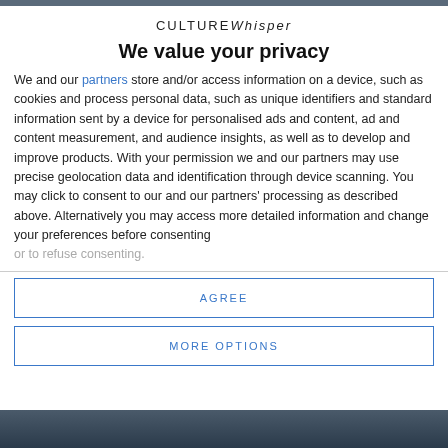CULTURE Whisper
We value your privacy
We and our partners store and/or access information on a device, such as cookies and process personal data, such as unique identifiers and standard information sent by a device for personalised ads and content, ad and content measurement, and audience insights, as well as to develop and improve products. With your permission we and our partners may use precise geolocation data and identification through device scanning. You may click to consent to our and our partners' processing as described above. Alternatively you may access more detailed information and change your preferences before consenting or to refuse consenting.
AGREE
MORE OPTIONS
[Figure (photo): Dark image visible at the bottom of the page behind the modal overlay]